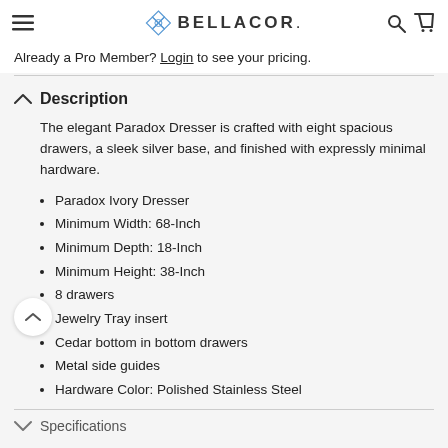BELLACOR.
Already a Pro Member? Login to see your pricing.
Description
The elegant Paradox Dresser is crafted with eight spacious drawers, a sleek silver base, and finished with expressly minimal hardware.
Paradox Ivory Dresser
Minimum Width: 68-Inch
Minimum Depth: 18-Inch
Minimum Height: 38-Inch
8 drawers
Jewelry Tray insert
Cedar bottom in bottom drawers
Metal side guides
Hardware Color: Polished Stainless Steel
Specifications